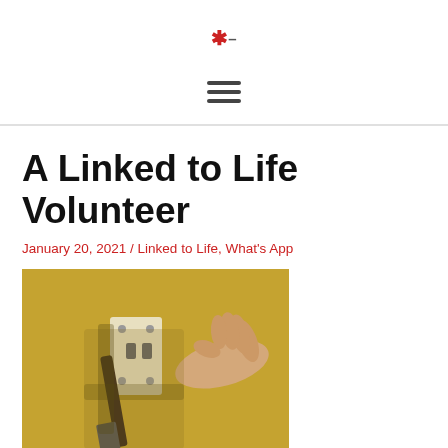*-
[Figure (other): Hamburger menu icon (three horizontal lines)]
A Linked to Life Volunteer
January 20, 2021 / Linked to Life, What's App
[Figure (photo): A hand reaching toward an electrical socket/switch on a yellow wall, with a screwdriver nearby]